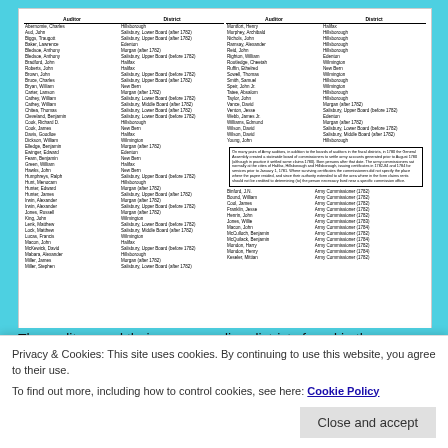| Auditor | District | Auditor | District |
| --- | --- | --- | --- |
| Abernomie, Charles | Hillsborough | Montfort, Henry | Halifax |
| Aud, John | Salisbury, Lower Board (after 1782) | Murphey, Archibald | Hillsborough |
| Biggs, Traugott | Salisbury, Upper Board (after 1782) | Nichols, John | Hillsborough |
| Baker, Lawrence | Edenton | Ramsay, Alexander | Hillsborough |
| Bledsoe, Anthony | Morgan (after 1782) | Reid, John | Hillsborough |
| Bledsoe, Anthony | Salisbury, Upper Board (before 1782) | Righton, William | Edenton |
| Bradford, John | Halifax | Routledge, Cheetah | Wilmington |
| Roberts, John | Halifax | Ruffin, Ethelred | New Bern |
| Brown, John | Salisbury, Upper Board (before 1782) | Sowell, Thomas | Wilmington |
| Bruce, Charles | Salisbury, Upper Board (after 1782) | Smith, Samuel | Hillsborough |
| Bryan, William | New Bern | Speir, John Jr. | Wilmington |
| Carter, Lanson | Morgan (after 1782) | Tatee, Absalom | Hillsborough |
| Cathey, William | Salisbury, Lower Board (before 1782) | Taylor, John | Hillsborough |
| Cathey, William | Salisbury, Middle Board (after 1782) | Vance, David | Morgan (after 1782) |
| Chitea, Thomas | Salisbury, Lower Board (after 1782) | Venton, Jesse | Salisbury, Upper Board (before 1782) |
| Cleveland, Benjamin | Salisbury, Lower Board (before 1782) | Webb, James Jr. | Edenton |
| Cook, Richard D. | Hillsborough | Williams, Edmund | Morgan (after 1782) |
| Cook, James | New Bern | Wilson, David | Salisbury, Lower Board (before 1782) |
| Davis, Goodloe | Halifax | Wilson, David | Salisbury, Middle Board (after 1782) |
| Dickson, William | Wilmington | Young, John | Hillsborough |
| Elledge, Benjamin | Morgan (after 1782) |  |  |
| Ewinger, Edward | Edenton |  |  |
| Feam, Benjamin | New Bern |  |  |
| Green, William | Halifax |  |  |
| Hawks, John | New Bern |  |  |
| Humphreys, Ralph | Salisbury, Upper Board (before 1782) |  |  |
| Hunt, Menocam | Hillsborough |  |  |
| Hunter, Edward | Morgan (after 1782) |  |  |
| Hunter, James | Salisbury, Upper Board (after 1782) |  |  |
| Irwin, Alexander | Morgan (after 1782) |  |  |
| Irwin, Alexander | Salisbury, Upper Board (before 1782) |  |  |
| Jones, Russell | Morgan (after 1782) |  |  |
| King, John | Wilmington |  |  |
| Lenk, Matthew | Salisbury, Lower Board (before 1782) |  |  |
| Lock, Matthew | Salisbury, Middle Board (after 1782) |  |  |
| Lucas, Francis | Wilmington |  |  |
| Macon, John | Halifax |  |  |
| McKewick, David | Salisbury, Upper Board (before 1782) |  |  |
| Mabara, Alexander | Hillsborough |  |  |
| Miller, James | Morgan (after 1782) |  |  |
| Miller, Stephen | Salisbury, Lower Board (after 1782) |  |  |
The auditors and their corresponding districts found in the
Privacy & Cookies: This site uses cookies. By continuing to use this website, you agree to their use. To find out more, including how to control cookies, see here: Cookie Policy